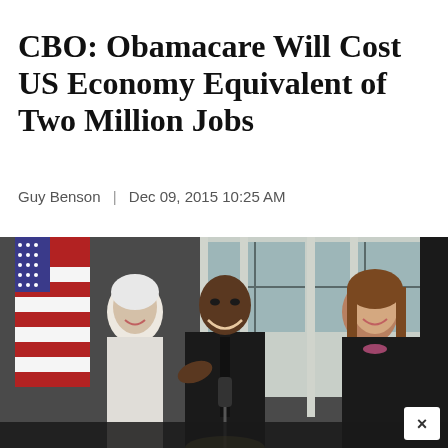CBO: Obamacare Will Cost US Economy Equivalent of Two Million Jobs
Guy Benson | Dec 09, 2015 10:25 AM
[Figure (photo): Photo of President Obama laughing and pointing at a podium, flanked by a white-haired woman in a white jacket laughing on his left, and a woman with brown hair smiling on his right. An American flag and White House colonnade are visible in the background. A close button (×) appears in the lower right corner.]